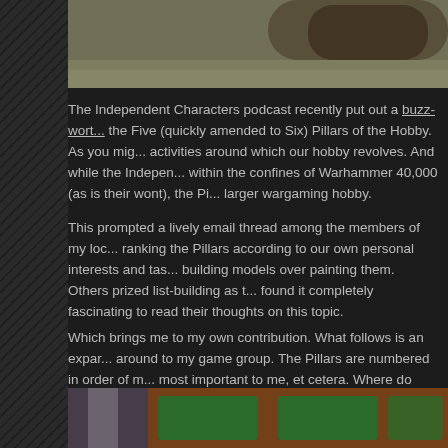[Figure (photo): Top image showing miniature models on sandy/gravel textured base, partially visible at top of page]
The Independent Characters podcast recently put out a buzz-wort... the Five (quickly amended to Six) Pillars of the Hobby. As you mig... activities around which our hobby revolves. And while the Indepen... within the confines of Warhammer 40,000 (as is their wont), the Pi... larger wargaming hobby.
This prompted a lively email thread among the members of my loc... ranking the Pillars according to our own personal interests and tas... building models over painting them. Others prized list-building as t... found it completely fascinating to read their thoughts on this topic.
Which brings me to my own contribution. What follows is an expar... around to my game group. The Pillars are numbered in order of m... most important to me, et cetera. Where do your Pillars rank? Be s... me.
[Figure (photo): Bottom image showing flags and green signs against a brick wall background]